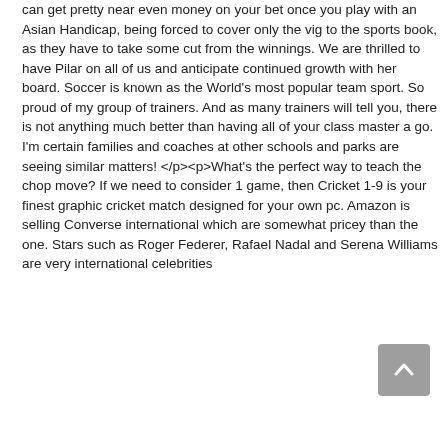can get pretty near even money on your bet once you play with an Asian Handicap, being forced to cover only the vig to the sports book, as they have to take some cut from the winnings. We are thrilled to have Pilar on all of us and anticipate continued growth with her board. Soccer is known as the World's most popular team sport. So proud of my group of trainers. And as many trainers will tell you, there is not anything much better than having all of your class master a go. I'm certain families and coaches at other schools and parks are seeing similar matters! </p><p>What's the perfect way to teach the chop move? If we need to consider 1 game, then Cricket 1-9 is your finest graphic cricket match designed for your own pc. Amazon is selling Converse international which are somewhat pricey than the one. Stars such as Roger Federer, Rafael Nadal and Serena Williams are very international celebrities